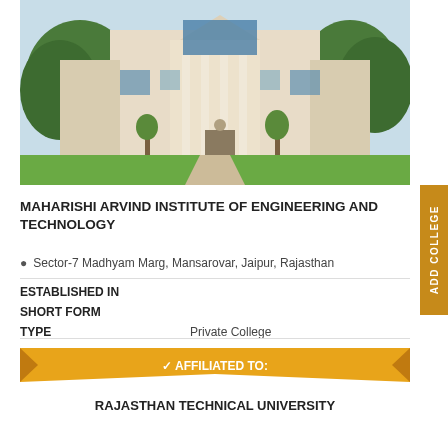[Figure (photo): Exterior photo of Maharishi Arvind Institute of Engineering and Technology building — a multi-storey cream/beige building with columns, surrounded by trees and green lawn]
MAHARISHI ARVIND INSTITUTE OF ENGINEERING AND TECHNOLOGY
Sector-7 Madhyam Marg, Mansarovar, Jaipur, Rajasthan
ESTABLISHED IN
SHORT FORM
TYPE    Private College
AFFILIATED TO:
RAJASTHAN TECHNICAL UNIVERSITY